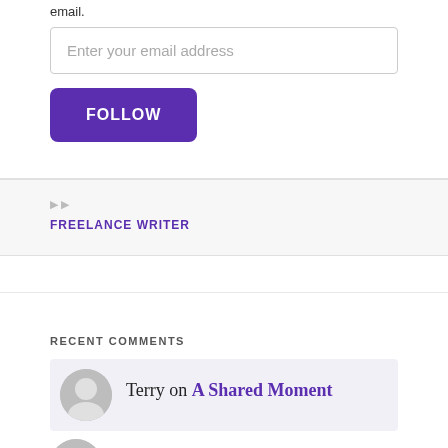email.
Enter your email address
FOLLOW
FREELANCE WRITER
RECENT COMMENTS
Terry on A Shared Moment